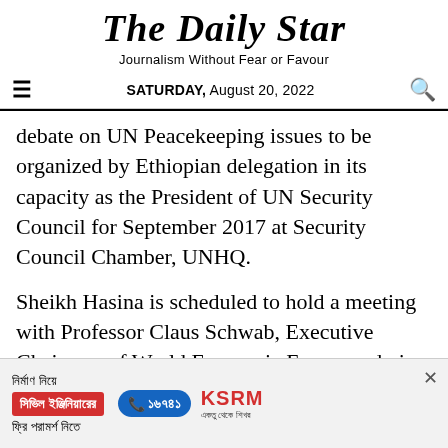The Daily Star
Journalism Without Fear or Favour
SATURDAY, August 20, 2022
debate on UN Peacekeeping issues to be organized by Ethiopian delegation in its capacity as the President of UN Security Council for September 2017 at Security Council Chamber, UNHQ.
Sheikh Hasina is scheduled to hold a meeting with Professor Claus Schwab, Executive Chairman of World Economic Forum and give an
[Figure (advertisement): KSRM construction company advertisement in Bengali: 'নির্মাণ নিয়ে সিভিল ইঞ্জিনিয়ারের ফ্রি পরামর্শ নিতে' with phone number ১৬৭৪১ and KSRM logo]